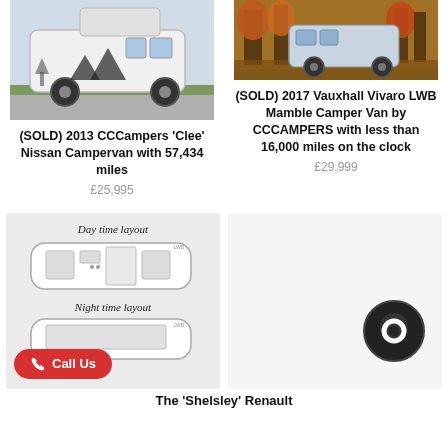[Figure (photo): White Nissan campervan with pop-up roof and mountain graphics on the side, parked on a road]
(SOLD) 2013 CCCampers 'Clee' Nissan Campervan with 57,434 miles
£25,995
[Figure (photo): Silver/blue Vauxhall Vivaro LWB camper van parked in autumn forest setting]
(SOLD) 2017 Vauxhall Vivaro LWB Mamble Camper Van by CCCAMPERS with less than 16,000 miles on the clock
£29,999
[Figure (schematic): Van floor plan layout diagram showing Day time layout and Night time layout for LWB van, with furniture arrangement]
The 'Shelsley' Renault
[Figure (other): Chat icon circular button on light grey background]